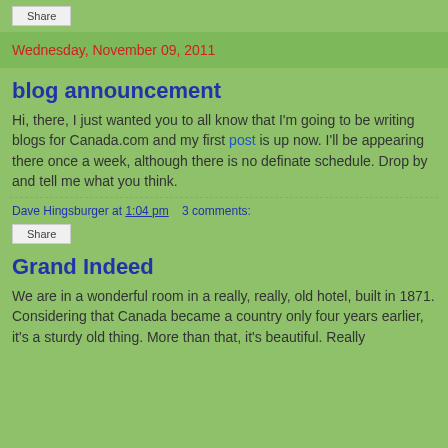Share
Wednesday, November 09, 2011
blog announcement
Hi, there, I just wanted you to all know that I'm going to be writing blogs for Canada.com and my first post is up now. I'll be appearing there once a week, although there is no definate schedule. Drop by and tell me what you think.
Dave Hingsburger at 1:04 pm   3 comments:
Share
Grand Indeed
We are in a wonderful room in a really, really, old hotel, built in 1871. Considering that Canada became a country only four years earlier, it's a sturdy old thing. More than that, it's beautiful. Really